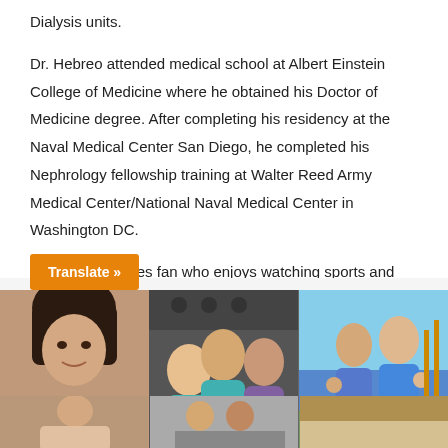Dialysis units.
Dr. Hebreo attended medical school at Albert Einstein College of Medicine where he obtained his Doctor of Medicine degree. After completing his residency at the Naval Medical Center San Diego, he completed his Nephrology fellowship training at Walter Reed Army Medical Center/National Naval Medical Center in Washington DC.
He is a big Padres fan who enjoys watching sports and movies along with spending time with his wife and two sons.
[Figure (photo): A collage of staff/team photos showing individuals and groups, including a woman with dark hair, a group selfie with people in teal shirts, a couple giving thumbs up outdoors, and smaller photos at the bottom.]